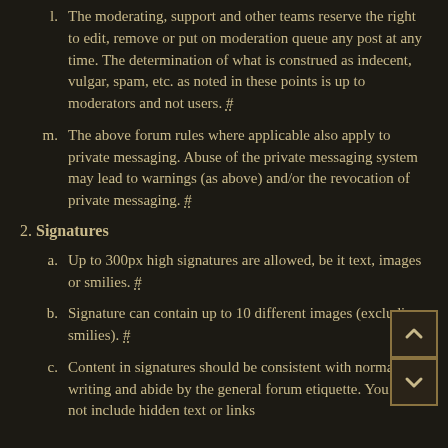l. The moderating, support and other teams reserve the right to edit, remove or put on moderation queue any post at any time. The determination of what is construed as indecent, vulgar, spam, etc. as noted in these points is up to moderators and not users. #
m. The above forum rules where applicable also apply to private messaging. Abuse of the private messaging system may lead to warnings (as above) and/or the revocation of private messaging. #
2. Signatures
a. Up to 300px high signatures are allowed, be it text, images or smilies. #
b. Signature can contain up to 10 different images (excluding smilies). #
c. Content in signatures should be consistent with normal writing and abide by the general forum etiquette. You may not include hidden text or links